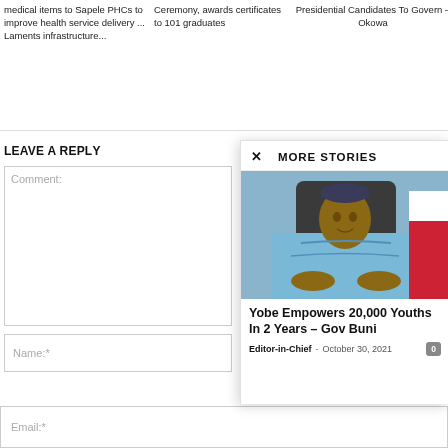medical items to Sapele PHCs to improve health service delivery ... Laments infrastructure...
Ceremony, awards certificates to 101 graduates
Presidential Candidates To Govern – Okowa
LEAVE A REPLY
Comment:
Name:*
Email:*
MORE STORIES
[Figure (photo): Portrait photo of a man in blue traditional Nigerian attire seated at a desk]
Yobe Empowers 20,000 Youths In 2 Years – Gov Buni
Editor-in-Chief - October 30, 2021